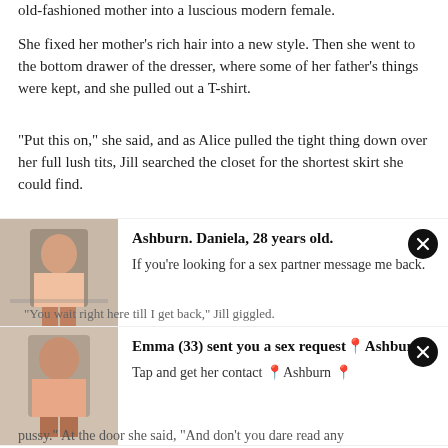old-fashioned mother into a luscious modern female.
She fixed her mother's rich hair into a new style. Then she went to the bottom drawer of the dresser, where some of her father's things were kept, and she pulled out a T-shirt.
"Put this on," she said, and as Alice pulled the tight thing down over her full lush tits, Jill searched the closet for the shortest skirt she could find.
[Figure (photo): Advertisement card with photo of woman in mirror selfie, text: Ashburn. Daniela, 28 years old. If you're looking for a sex partner message me back.]
"You wait right here till I get back," Jill giggled.
[Figure (photo): Advertisement card with photo of woman in mirror selfie, text: Emma (33) sent you a sex request📍Ashburn. Tap and get her contact 📍Ashburn 📍]
pussy." At the door she said, "And don't you dare read any